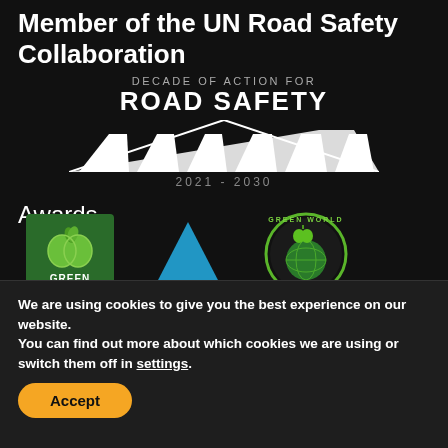Member of the UN Road Safety Collaboration
[Figure (logo): Decade of Action for Road Safety 2021-2030 badge with crosswalk stripes graphic, text: DECADE OF ACTION FOR ROAD SAFETY 2021 - 2030]
Awards
[Figure (logo): Three award logos: Green apple/GO green logo on dark green background with text GREEN; Blue triangle logo; Green World circular badge with globe and apple]
We are using cookies to give you the best experience on our website.
You can find out more about which cookies we are using or switch them off in settings.
Accept